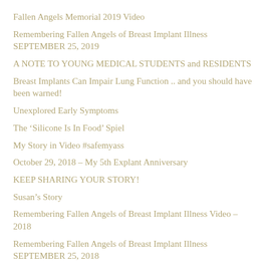Fallen Angels Memorial 2019 Video
Remembering Fallen Angels of Breast Implant Illness SEPTEMBER 25, 2019
A NOTE TO YOUNG MEDICAL STUDENTS and RESIDENTS
Breast Implants Can Impair Lung Function .. and you should have been warned!
Unexplored Early Symptoms
The ‘Silicone Is In Food’ Spiel
My Story in Video #safemyass
October 29, 2018 – My 5th Explant Anniversary
KEEP SHARING YOUR STORY!
Susan’s Story
Remembering Fallen Angels of Breast Implant Illness Video – 2018
Remembering Fallen Angels of Breast Implant Illness SEPTEMBER 25, 2018
Self-Rejection – Let’s Talk About It
Breast Implants From My Children’s Eyes